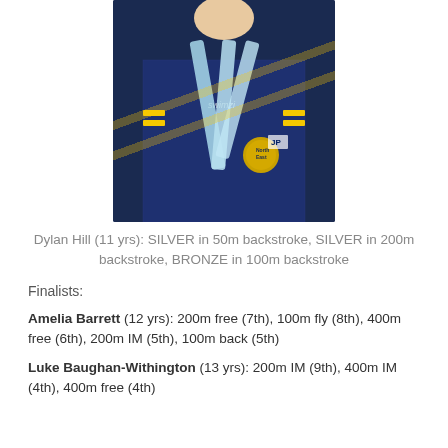[Figure (photo): Young swimmer wearing a dark navy blue team jersey with 'KUHSC' branding and 'swimzi' logo, with multiple light blue medal ribbons around neck, including a North East medal]
Dylan Hill (11 yrs): SILVER in 50m backstroke, SILVER in 200m backstroke, BRONZE in 100m backstroke
Finalists:
Amelia Barrett (12 yrs): 200m free (7th), 100m fly (8th), 400m free (6th), 200m IM (5th), 100m back (5th)
Luke Baughan-Withington (13 yrs): 200m IM (9th), 400m IM (4th), 400m free (4th)